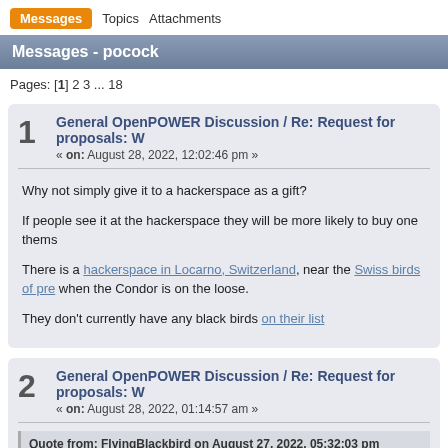Messages  Topics  Attachments
Messages - pocock
Pages: [1] 2 3 ... 18
1  General OpenPOWER Discussion / Re: Request for proposals: W
« on: August 28, 2022, 12:02:46 pm »
Why not simply give it to a hackerspace as a gift?

If people see it at the hackerspace they will be more likely to buy one thems

There is a hackerspace in Locarno, Switzerland, near the Swiss birds of pre when the Condor is on the loose.

They don't currently have any black birds on their list
2  General OpenPOWER Discussion / Re: Request for proposals: W
« on: August 28, 2022, 01:14:57 am »
Quote from: FlyingBlackbird on August 27, 2022, 05:32:03 pm